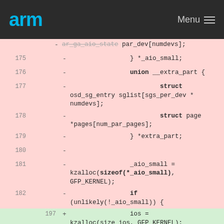arm   Menu
Code diff view showing lines 175-183 (removed) and 197-199 (added)
[Figure (screenshot): ARM developer website code diff view showing C code changes. Removed lines (pink background) lines 175-182 show aio_small struct definitions including union __extra_part with struct osd_sg_entry sglist and struct page *pages, and kzalloc sizeof(*_aio_small) call. Added lines (green background) lines 197-198 show ios = kzalloc(size_ios, GFP_KERNEL) and if (unlikely(!ios)) {. Line 183/199 at bottom is neutral white row with partial text.]